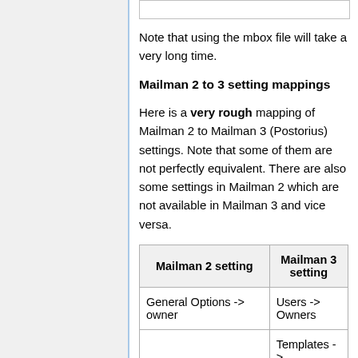Note that using the mbox file will take a very long time.
Mailman 2 to 3 setting mappings
Here is a very rough mapping of Mailman 2 to Mailman 3 (Postorius) settings. Note that some of them are not perfectly equivalent. There are also some settings in Mailman 2 which are not available in Mailman 3 and vice versa.
| Mailman 2 setting | Mailman 3 setting |
| --- | --- |
| General Options -> owner | Users -> Owners |
| Non-digest options -> | Templates -> 'The footer fo... |